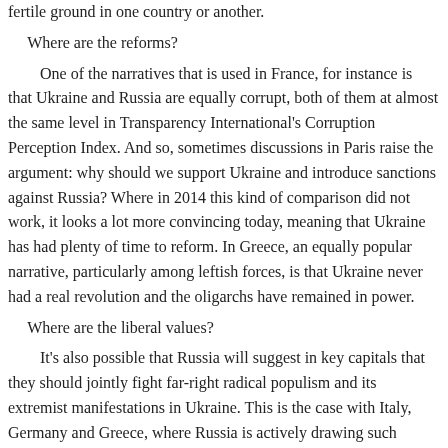fertile ground in one country or another.
Where are the reforms?
One of the narratives that is used in France, for instance is that Ukraine and Russia are equally corrupt, both of them at almost the same level in Transparency International's Corruption Perception Index. And so, sometimes discussions in Paris raise the argument: why should we support Ukraine and introduce sanctions against Russia? Where in 2014 this kind of comparison did not work, it looks a lot more convincing today, meaning that Ukraine has had plenty of time to reform. In Greece, an equally popular narrative, particularly among leftish forces, is that Ukraine never had a real revolution and the oligarchs have remained in power.
Where are the liberal values?
It's also possible that Russia will suggest in key capitals that they should jointly fight far-right radical populism and its extremist manifestations in Ukraine. This is the case with Italy, Germany and Greece, where Russia is actively drawing such parallels with Ukraine. Moreover, the “nazi Ukraine” narrative could work in dialogue not just with leftist politicians.
Tensions in relations between Kyiv and Budapest around the